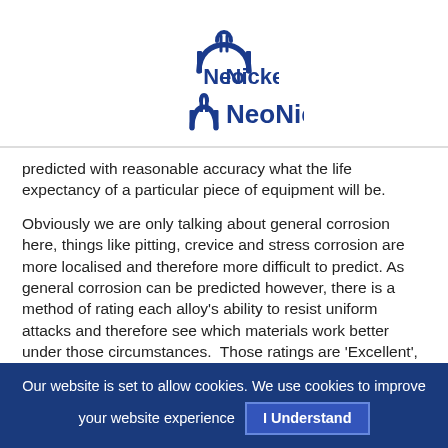NeoNickel
predicted with reasonable accuracy what the life expectancy of a particular piece of equipment will be.
Obviously we are only talking about general corrosion here, things like pitting, crevice and stress corrosion are more localised and therefore more difficult to predict. As general corrosion can be predicted however, there is a method of rating each alloy's ability to resist uniform attacks and therefore see which materials work better under those circumstances.  Those ratings are 'Excellent', where an alloy displays outstanding resistance to general corrosion and can therefore be used for making critical parts or components;
Our website is set to allow cookies. We use cookies to improve your website experience  I Understand